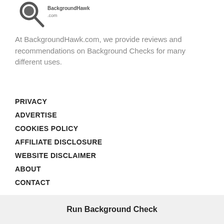[Figure (logo): BackgroundHawk.com logo with magnifying glass icon]
At BackgroundHawk.com, we provide reviews and recommendations on Background Checks for many different uses.
PRIVACY
ADVERTISE
COOKIES POLICY
AFFILIATE DISCLOSURE
WEBSITE DISCLAIMER
ABOUT
CONTACT
Run Background Check